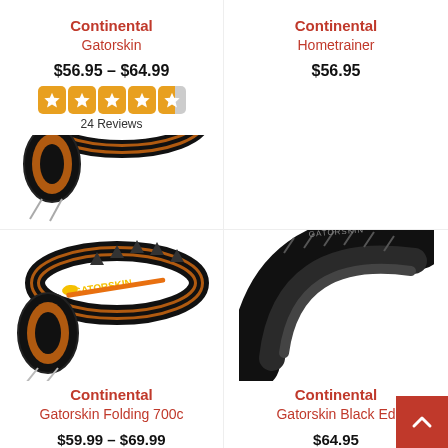Continental Gatorskin
$56.95 – $64.99
24 Reviews
Continental Hometrainer
$56.95
[Figure (photo): Continental Gatorskin folding bicycle tire, brown/tan sidewall with black tread and Gatorskin logo]
Continental Gatorskin Folding 700c
$59.99 – $69.99
[Figure (photo): Continental Gatorskin Black Edition bicycle tire, all-black with tread pattern visible]
Continental Gatorskin Black Ed
$64.95